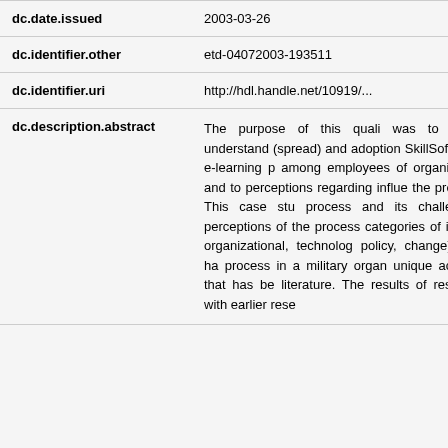| Field | Value |
| --- | --- |
| dc.date.issued | 2003-03-26 |
| dc.identifier.other | etd-04072003-193511 |
| dc.identifier.uri | http://hdl.handle.net/10919/... |
| dc.description.abstract | The purpose of this quali... was to better understand (spread) and adoption SkillSoft® (an e-learning p among employees of organization and to perceptions regarding influe the process. This case stu process and its challenges. perceptions of the process categories of influen organizational, technolog policy, change) may ha process in a military organ unique account that has be literature. The results of resonate with earlier rese |